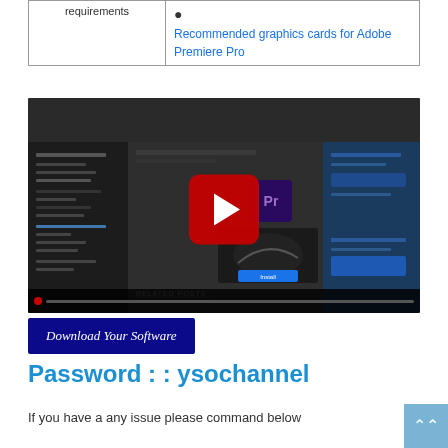|  |  |
| --- | --- |
| requirements | • Recommended graphics cards for Adobe Premiere Pro |
[Figure (screenshot): YouTube-style video thumbnail showing 'Adobe Premier Pro installation...' with play button, Adobe Premiere Pro icon, and website interface screenshot in the background.]
[Figure (screenshot): Blue button reading 'Download Your Software']
Password : : ysochannel
If you have a any issue please command below